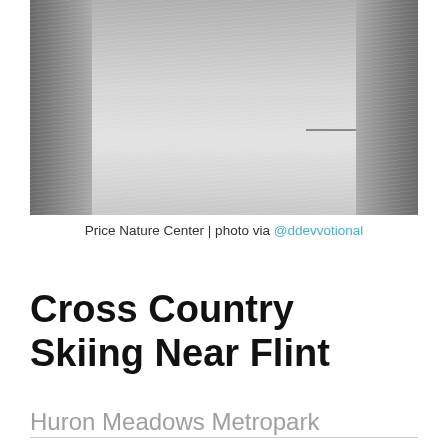[Figure (photo): Black and white photograph of a snowy path or road viewed through two large stone or concrete pillars, with snow falling and flat snowy fields extending into the distance. Price Nature Center.]
Price Nature Center | photo via @ddevvotional
Cross Country Skiing Near Flint
Huron Meadows Metropark